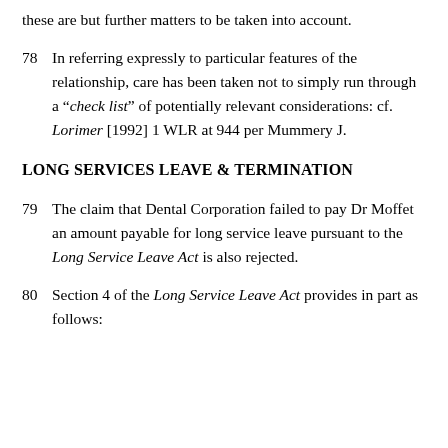these are but further matters to be taken into account.
78   In referring expressly to particular features of the relationship, care has been taken not to simply run through a “check list” of potentially relevant considerations: cf. Lorimer [1992] 1 WLR at 944 per Mummery J.
LONG SERVICES LEAVE & TERMINATION
79   The claim that Dental Corporation failed to pay Dr Moffet an amount payable for long service leave pursuant to the Long Service Leave Act is also rejected.
80   Section 4 of the Long Service Leave Act provides in part as follows: